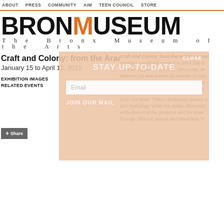ABOUT  PRESS  COMMUNITY  AIM  TEEN COUNCIL  STORE
BRONMUSEUM — The Bronx Museum of the Arts
[Figure (screenshot): Newsletter signup popup overlay with 'STAY UP-TO-DATE' heading, email input, and 'JOIN OUR MAIL' button, with CLOSE button at top right]
Craft and Colony: from the Arachnae Series by A
January 15 to April 12, 2015
EXHIBITION IMAGES
RELATED EVENTS
Craft And Colony: from the Arachnae Series by Aristides Logothetis created in 2014 that d... used as support of systems, constructs, and... between joy and anxiety as clashes of cultu... Logothetis has produced a diverse body of ... visual perception and its relationship to a r...
From the artist: 'These abstracted spiders a... and mythology. While the spider often inspi... embodiment of the protector and the creat... through different periods and ethnicities: T...